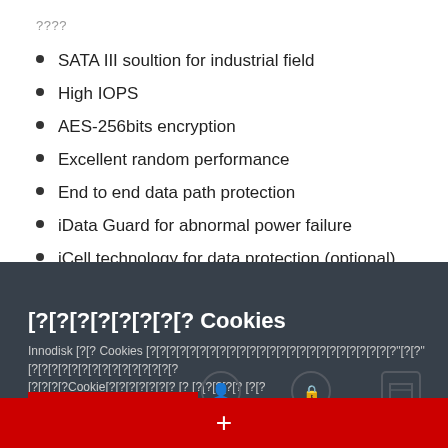????
SATA III soultion for industrial field
High IOPS
AES-256bits encryption
Excellent random performance
End to end data path protection
iData Guard for abnormal power failure
iCell technology for data protection (optional)
Compatible with M.2 2280-D2-B-M standard
???????? Cookies
Innodisk ?? Cookies ???????????????????????????????????"??"??????????????????Cookie?????????? ? ?????? ??